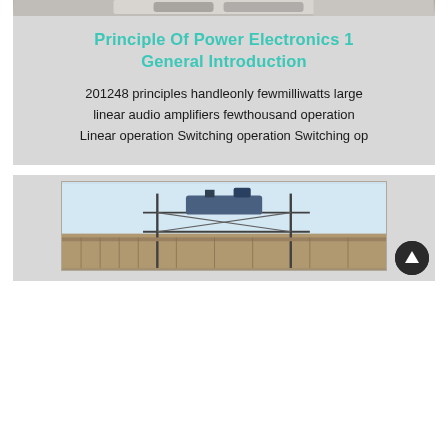[Figure (photo): Top portion of a photograph showing mechanical/electrical components, partially cropped at top of page]
Principle Of Power Electronics 1 General Introduction
201248 principles handleonly fewmilliwatts large linear audio amplifiers fewthousand operation Linear operation Switching operation Switching op
[Figure (photo): Photograph of industrial equipment on a rooftop or building structure, with scaffolding visible]